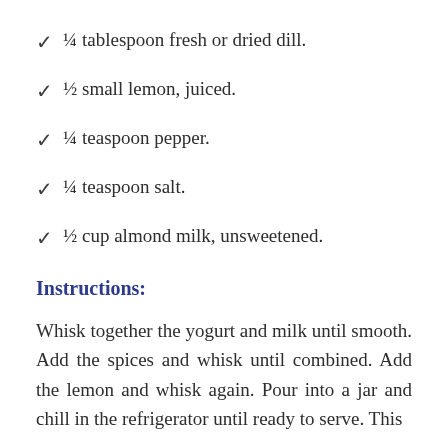¼ tablespoon fresh or dried dill.
½ small lemon, juiced.
¼ teaspoon pepper.
¼ teaspoon salt.
½ cup almond milk, unsweetened.
Instructions:
Whisk together the yogurt and milk until smooth. Add the spices and whisk until combined. Add the lemon and whisk again. Pour into a jar and chill in the refrigerator until ready to serve. This